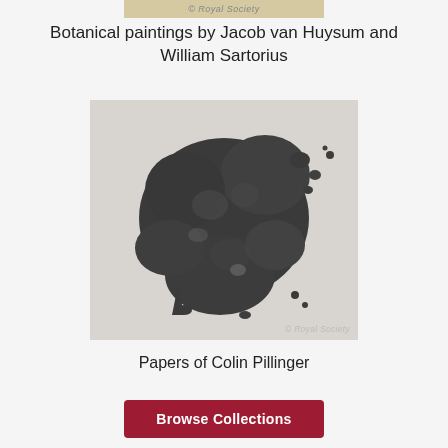© Royal Society
Botanical paintings by Jacob van Huysum and William Sartorius
[Figure (photo): Black and white photograph of rocky mineral or meteorite fragments against a light background, with '© Royal Society' watermark in the lower right corner.]
Papers of Colin Pillinger
Browse Collections